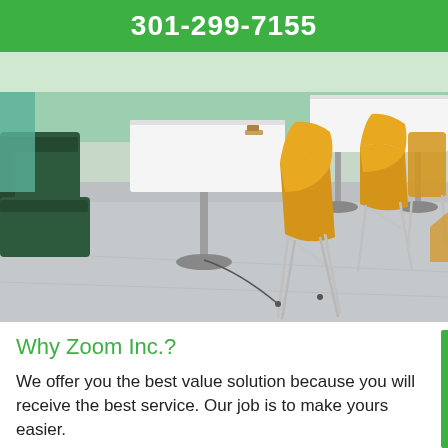301-299-7155
[Figure (photo): Interior of a modern cafeteria or office lounge with white tables, yellow/orange chairs with metal legs, dark green bench seating, and gray polished concrete floor.]
Why Zoom Inc.?
We offer you the best value solution because you will receive the best service. Our job is to make yours easier.